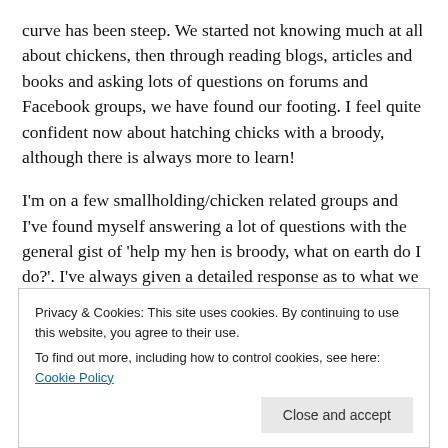curve has been steep. We started not knowing much at all about chickens, then through reading blogs, articles and books and asking lots of questions on forums and Facebook groups, we have found our footing. I feel quite confident now about hatching chicks with a broody, although there is always more to learn!
I'm on a few smallholding/chicken related groups and I've found myself answering a lot of questions with the general gist of 'help my hen is broody, what on earth do I do?'. I've always given a detailed response as to what we do and then to my surprise others, who seem very experienced, liked my suggestions and even better the original poster would come
Privacy & Cookies: This site uses cookies. By continuing to use this website, you agree to their use.
To find out more, including how to control cookies, see here: Cookie Policy